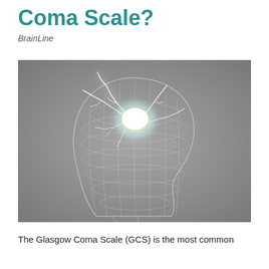Coma Scale?
BrainLine
[Figure (illustration): 3D wireframe illustration of a human head in profile (side view), with bright glowing light and lightning/neural bolt patterns emanating from the brain area, on a grey gradient background.]
The Glasgow Coma Scale (GCS) is the most common